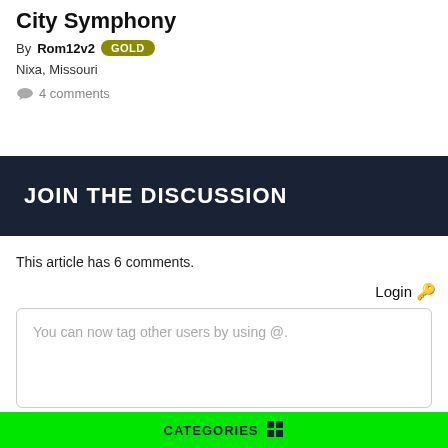City Symphony
By Rom12v2 GOLD
Nixa, Missouri
4 comments
JOIN THE DISCUSSION
This article has 6 comments.
Login 🔑
You can now tag other users by using @.
CATEGORIES